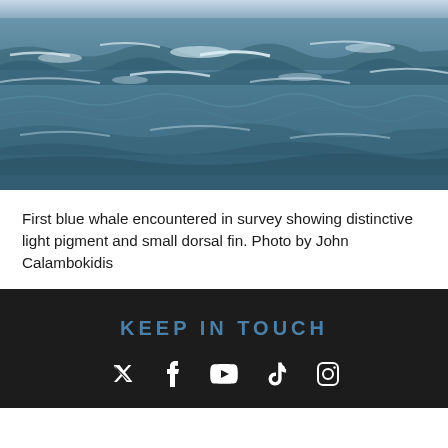[Figure (photo): Ocean waves photograph showing blue-grey choppy sea water with white foam and wave crests, taken from above or at water level.]
First blue whale encountered in survey showing distinctive light pigment and small dorsal fin. Photo by John Calambokidis
KEEP IN TOUCH
[Figure (other): Social media icons row: Twitter, Facebook, YouTube, TikTok, Instagram — white icons on dark background.]